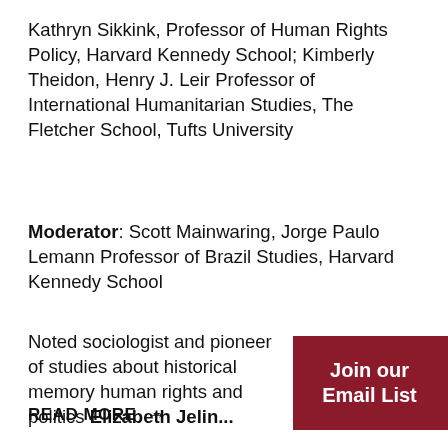Kathryn Sikkink, Professor of Human Rights Policy, Harvard Kennedy School; Kimberly Theidon, Henry J. Leir Professor of International Humanitarian Studies, The Fletcher School, Tufts University
Moderator: Scott Mainwaring, Jorge Paulo Lemann Professor of Brazil Studies, Harvard Kennedy School
Noted sociologist and pioneer of studies about historical memory human rights and politics Elizabeth Jelin...
READ MORE →
Join our Email List